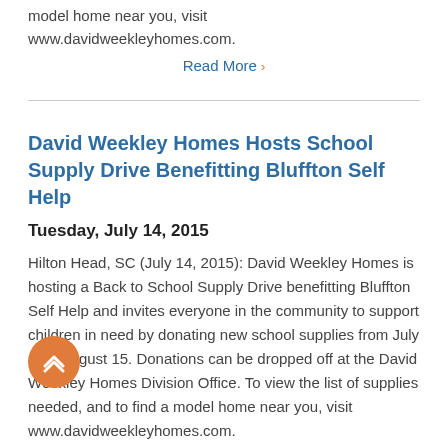model home near you, visit www.davidweekleyhomes.com.
Read More ›
David Weekley Homes Hosts School Supply Drive Benefitting Bluffton Self Help
Tuesday, July 14, 2015
Hilton Head, SC (July 14, 2015): David Weekley Homes is hosting a Back to School Supply Drive benefitting Bluffton Self Help and invites everyone in the community to support children in need by donating new school supplies from July 15 – August 15. Donations can be dropped off at the David Weekley Homes Division Office. To view the list of supplies needed, and to find a model home near you, visit www.davidweekleyhomes.com.
Read More ›